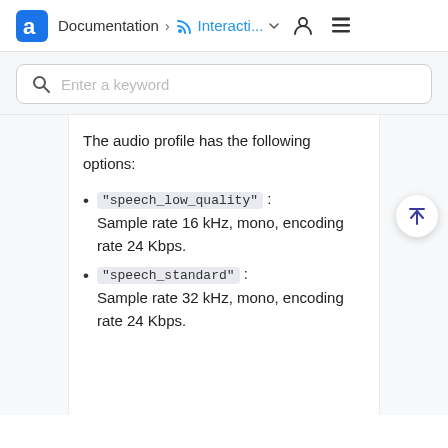Documentation > Interacti...
The audio profile has the following options:
"speech_low_quality" : Sample rate 16 kHz, mono, encoding rate 24 Kbps.
"speech_standard" : Sample rate 32 kHz, mono, encoding rate 24 Kbps.